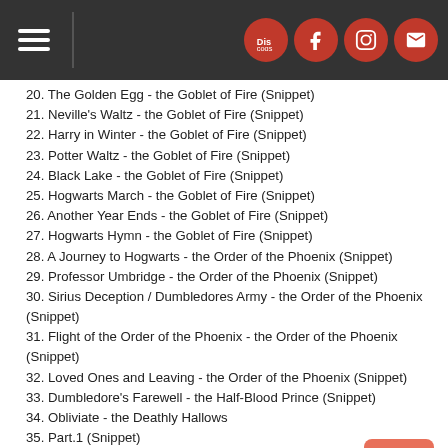Navigation header with hamburger menu and social icons (Discogs, Facebook, Instagram, Email)
20. The Golden Egg - the Goblet of Fire (Snippet)
21. Neville's Waltz - the Goblet of Fire (Snippet)
22. Harry in Winter - the Goblet of Fire (Snippet)
23. Potter Waltz - the Goblet of Fire (Snippet)
24. Black Lake - the Goblet of Fire (Snippet)
25. Hogwarts March - the Goblet of Fire (Snippet)
26. Another Year Ends - the Goblet of Fire (Snippet)
27. Hogwarts Hymn - the Goblet of Fire (Snippet)
28. A Journey to Hogwarts - the Order of the Phoenix (Snippet)
29. Professor Umbridge - the Order of the Phoenix (Snippet)
30. Sirius Deception / Dumbledores Army - the Order of the Phoenix (Snippet)
31. Flight of the Order of the Phoenix - the Order of the Phoenix (Snippet)
32. Loved Ones and Leaving - the Order of the Phoenix (Snippet)
33. Dumbledore's Farewell - the Half-Blood Prince (Snippet)
34. Obliviate - the Deathly Hallows
35. Part.1 (Snippet)
36. Lilys Theme - the Deathly Hallows
37. Part.2 (Snippet)", the Eight Harry Potter Films Form the Largest